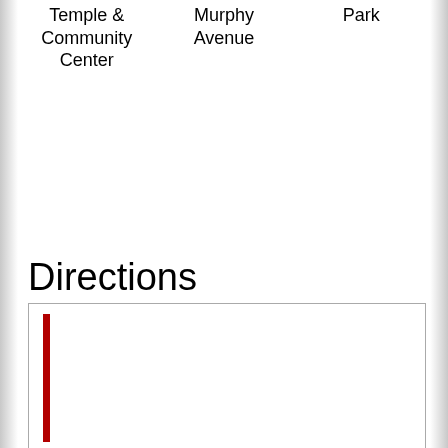Temple & Community Center
Murphy Avenue
Park
Directions
[Figure (map): A map or directions diagram with a red vertical bar indicating a route or line, partially visible within a bordered box. A grey marker appears at the bottom of the route line.]